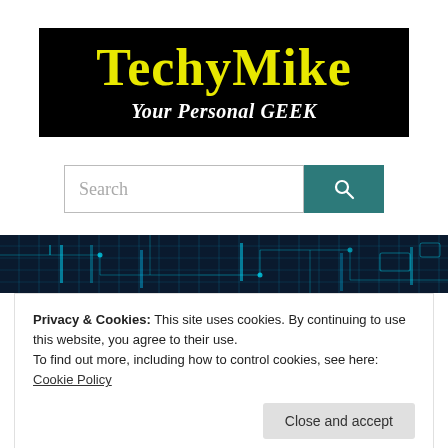[Figure (logo): TechyMike logo banner: black background, yellow bold 'TechyMike' title, white italic bold 'Your Personal GEEK' subtitle]
[Figure (other): Search bar with text input labeled 'Search' and a teal search button with magnifier icon]
[Figure (photo): Dark blue circuit board background image strip at top of content area]
Privacy & Cookies: This site uses cookies. By continuing to use this website, you agree to their use.
To find out more, including how to control cookies, see here: Cookie Policy
“The Big R...